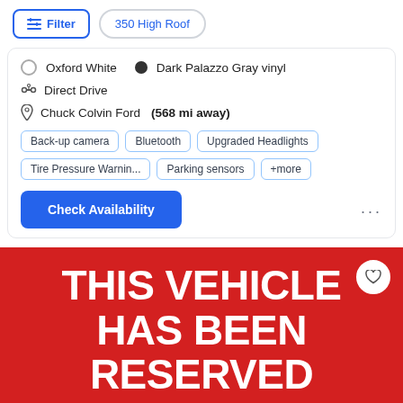Filter | 350 High Roof
Oxford White | Dark Palazzo Gray vinyl
Direct Drive
Chuck Colvin Ford (568 mi away)
Back-up camera | Bluetooth | Upgraded Headlights | Tire Pressure Warnin... | Parking sensors | +more
Check Availability
THIS VEHICLE HAS BEEN RESERVED